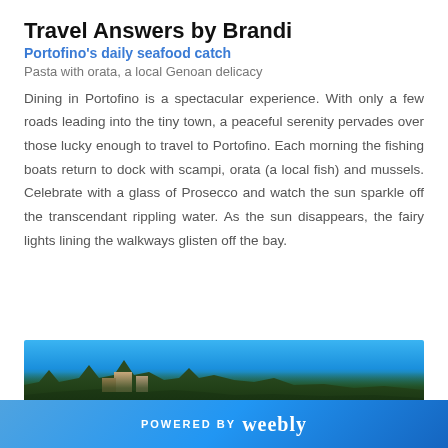Travel Answers by Brandi
Portofino's daily seafood catch
Pasta with orata, a local Genoan delicacy
Dining in Portofino is a spectacular experience. With only a few roads leading into the tiny town, a peaceful serenity pervades over those lucky enough to travel to Portofino. Each morning the fishing boats return to dock with scampi, orata (a local fish) and mussels. Celebrate with a glass of Prosecco and watch the sun sparkle off the transcendant rippling water. As the sun disappears, the fairy lights lining the walkways glisten off the bay.
[Figure (photo): Coastal view of Portofino with blue sky, lush green trees and hillside buildings]
POWERED BY weebly